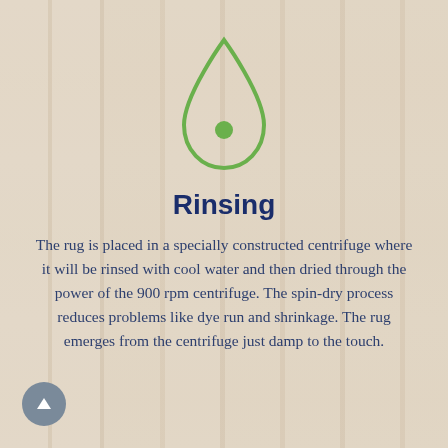[Figure (illustration): Water drop icon outline in green with a filled green circle inside, centered near top of page]
Rinsing
The rug is placed in a specially constructed centrifuge where it will be rinsed with cool water and then dried through the power of the 900 rpm centrifuge. The spin-dry process reduces problems like dye run and shrinkage. The rug emerges from the centrifuge just damp to the touch.